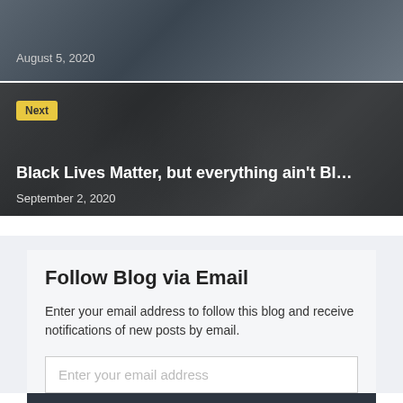[Figure (photo): Dark grayscale photo strip with date text overlay]
August 5, 2020
[Figure (photo): Grayscale protest crowd photo with raised fist, labeled Next]
Black Lives Matter, but everything ain't Bl…
September 2, 2020
Follow Blog via Email
Enter your email address to follow this blog and receive notifications of new posts by email.
Enter your email address
Subscribe to The Armchair Commentary